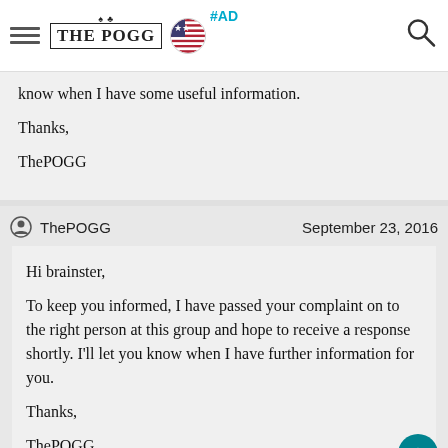THE POGG | #AD
know when I have some useful information.

Thanks,

ThePOGG
ThePOGG    September 23, 2016
Hi brainster,

To keep you informed, I have passed your complaint on to the right person at this group and hope to receive a response shortly. I'll let you know when I have further information for you.

Thanks,

ThePOGG